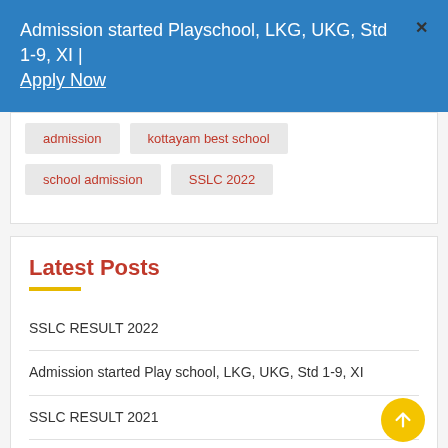Admission started Playschool, LKG, UKG, Std 1-9, XI | Apply Now  ×
admission
kottayam best school
school admission
SSLC 2022
Latest Posts
SSLC RESULT 2022
Admission started Play school, LKG, UKG, Std 1-9, XI
SSLC RESULT 2021